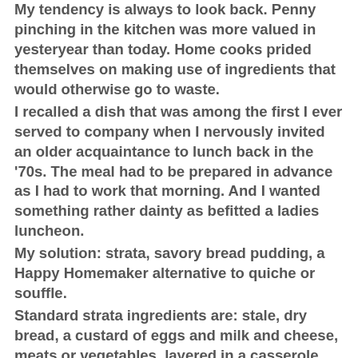My tendency is always to look back. Penny pinching in the kitchen was more valued in yesteryear than today. Home cooks prided themselves on making use of ingredients that would otherwise go to waste. I recalled a dish that was among the first I ever served to company when I nervously invited an older acquaintance to lunch back in the '70s. The meal had to be prepared in advance as I had to work that morning. And I wanted something rather dainty as befitted a ladies luncheon. My solution: strata, savory bread pudding, a Happy Homemaker alternative to quiche or souffle. Standard strata ingredients are: stale, dry bread, a custard of eggs and milk and cheese, meats or vegetables, layered in a casserole dish, weighted down, held in the refrigerator overnight and baked. (Before preservatives, bread had a short shelf life, food moths...